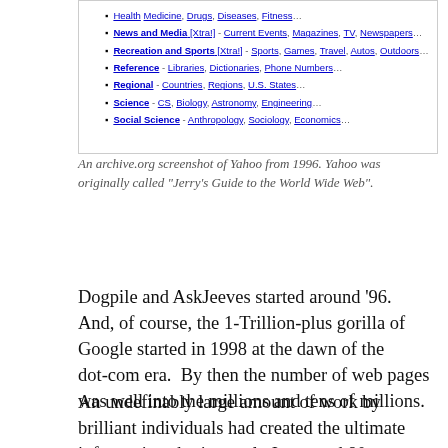[Figure (screenshot): Archive.org screenshot of Yahoo from 1996 showing directory category links including News and Media, Recreation and Sports, Reference, Regional, Science, Social Science]
An archive.org screenshot of Yahoo from 1996. Yahoo was originally called "Jerry's Guide to the World Wide Web".
Dogpile and AskJeeves started around '96. And, of course, the 1-Trillion-plus gorilla of Google started in 1998 at the dawn of the dot-com era.  By then the number of web pages was well into the millions and tens of millions.
An undefinably large amount of work by brilliant individuals had created the ultimate information sharing tool.  In around 80 years